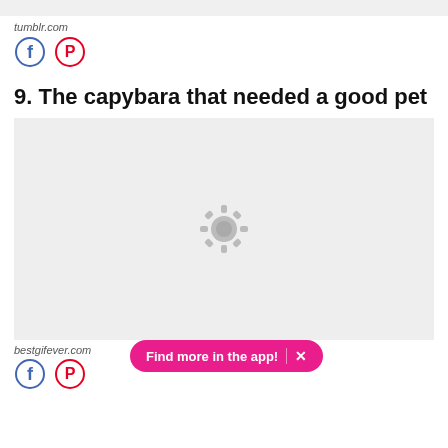tumblr.com
[Figure (other): Facebook and Pinterest social share icon circles]
9. The capybara that needed a good pet
[Figure (photo): Loading placeholder image with gear/spinner icon on light gray background]
bestgifever.com
[Figure (other): Facebook and Pinterest social share icon circles (bottom)]
Find more in the app!